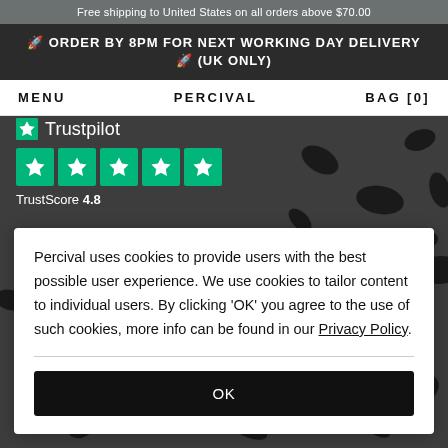Free shipping to United States on all orders above $70.00
🚀 ORDER BY 8PM FOR NEXT WORKING DAY DELIVERY 🚀 (UK ONLY)
MENU   PERCIVAL   BAG [0]
[Figure (logo): Trustpilot logo with green star icon and 4.8 TrustScore with 5 green star rating boxes]
Percival uses cookies to provide users with the best possible user experience. We use cookies to tailor content to individual users. By clicking 'OK' you agree to the use of such cookies, more info can be found in our Privacy Policy.
OK